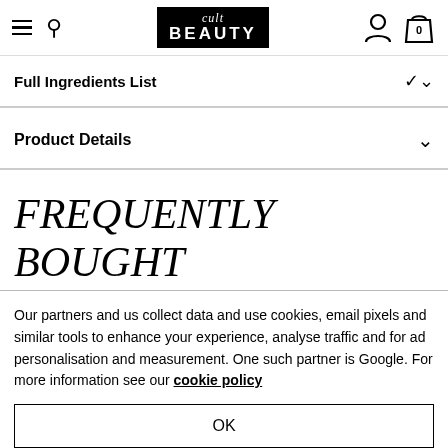Cult Beauty navigation bar with hamburger menu, search, logo, user icon, and cart (0)
Full Ingredients List
Product Details
FREQUENTLY BOUGHT TOGETHER
Our partners and us collect data and use cookies, email pixels and similar tools to enhance your experience, analyse traffic and for ad personalisation and measurement. One such partner is Google. For more information see our cookie policy
OK